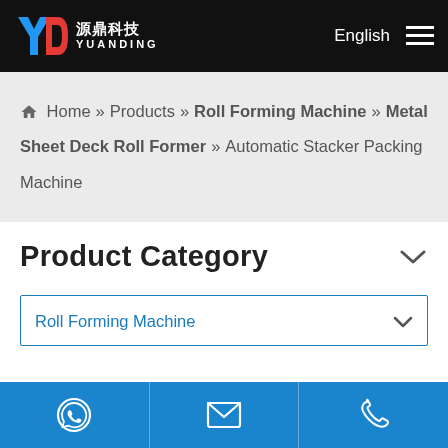[Figure (logo): Yuanding (源鼎科技) company logo with YD icon in blue and red on black header]
English ☰
🏠 Home » Products » Roll Forming Machine » Metal Sheet Deck Roll Former » Automatic Stacker Packing Machine
Product Category
Roll Forming Machine
[Figure (screenshot): Bottom action bar with WhatsApp, email, and phone icons on blue background]